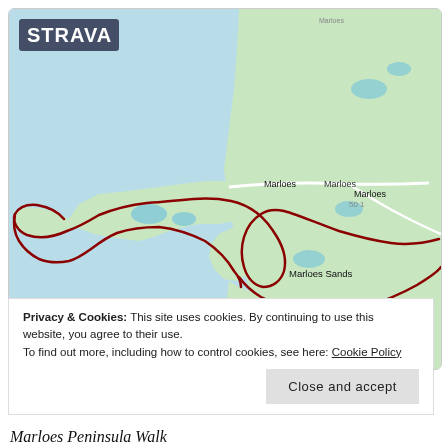[Figure (map): Strava map screenshot showing the Marloes Peninsula Walk route in Wales. A red route line traces the coastal path around the Marloes Peninsula. The map shows Marloes Sands label, Marloes/Marloes label, and Dale label. The STRAVA logo appears in white at the top left. The terrain shows water (light blue) surrounding the peninsula and green land areas.]
Privacy & Cookies: This site uses cookies. By continuing to use this website, you agree to their use.
To find out more, including how to control cookies, see here: Cookie Policy
Close and accept
Marloes Peninsula Walk